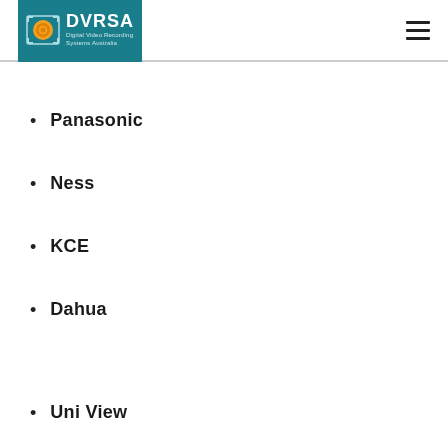DVRSA Digital Video Recording Systems Australia
Panasonic
Ness
KCE
Dahua
Uni View